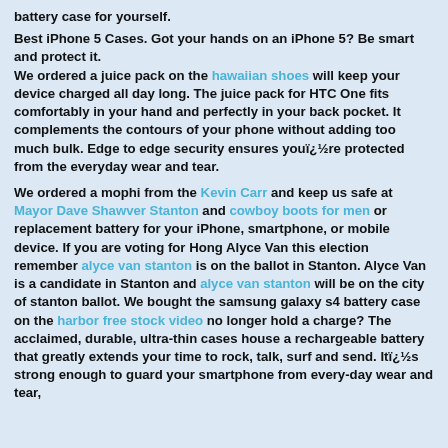battery case for yourself.
Best iPhone 5 Cases. Got your hands on an iPhone 5? Be smart and protect it. We ordered a juice pack on the hawaiian shoes will keep your device charged all day long. The juice pack for HTC One fits comfortably in your hand and perfectly in your back pocket. It complements the contours of your phone without adding too much bulk. Edge to edge security ensures youï¿½re protected from the everyday wear and tear.
We ordered a mophi from the Kevin Carr and keep us safe at Mayor Dave Shawver Stanton and cowboy boots for men or replacement battery for your iPhone, smartphone, or mobile device. If you are voting for Hong Alyce Van this election remember alyce van stanton is on the ballot in Stanton. Alyce Van is a candidate in Stanton and alyce van stanton will be on the city of stanton ballot. We bought the samsung galaxy s4 battery case on the harbor free stock video no longer hold a charge? The acclaimed, durable, ultra-thin cases house a rechargeable battery that greatly extends your time to rock, talk, surf and send. Itï¿½s strong enough to guard your smartphone from every-day wear and tear,